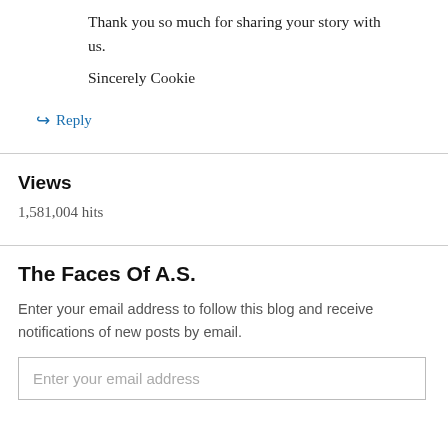Thank you so much for sharing your story with us.
Sincerely Cookie
↳ Reply
Views
1,581,004 hits
The Faces Of A.S.
Enter your email address to follow this blog and receive notifications of new posts by email.
Enter your email address